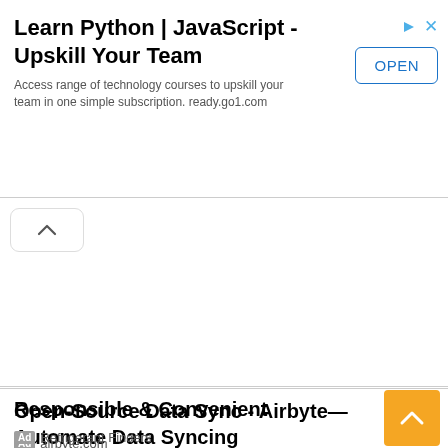[Figure (screenshot): Top advertisement banner: 'Learn Python | JavaScript - Upskill Your Team' with OPEN button, ad icons, and description 'Access range of technology courses to upskill your team in one simple subscription. ready.go1.com']
[Figure (other): Small upward chevron button (collapse/scroll up control)]
Open-Source Data Sync - Airbyte—Automate Data Syncing
Ad  airbyte.com
Responsible & Convenient
Ad  Refrigerant Finders
[Figure (other): Orange square button with upward chevron arrow (scroll to top)]